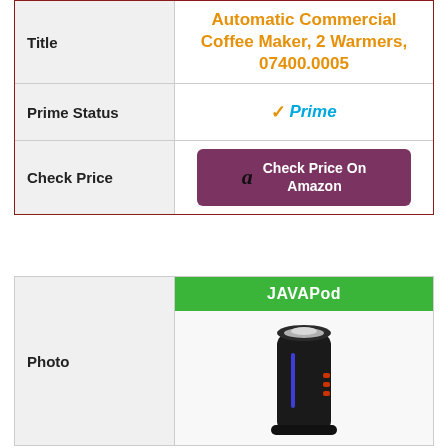| Field | Value |
| --- | --- |
| Title | Automatic Commercial Coffee Maker, 2 Warmers, 07400.0005 |
| Prime Status | ✓Prime |
| Check Price | Check Price On Amazon |
| Photo | JAVAPod |
| --- | --- |
| Photo | [product image of JAVAPod coffee machine] |